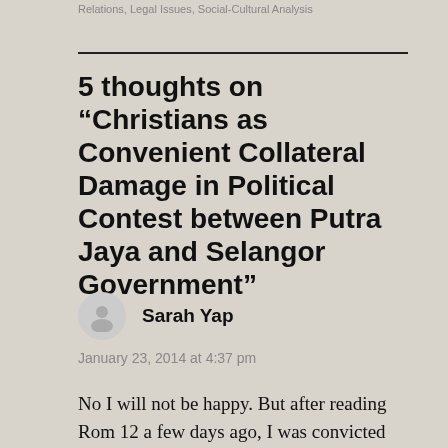Relations, Legal Issues, Social-Cultural Analysis
5 thoughts on “Christians as Convenient Collateral Damage in Political Contest between Putra Jaya and Selangor Government”
Sarah Yap
January 23, 2014 at 4:37 pm
No I will not be happy. But after reading Rom 12 a few days ago, I was convicted through the last